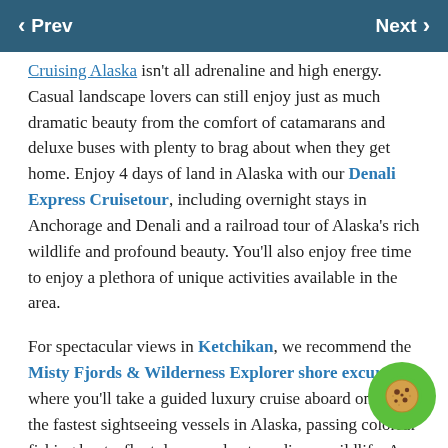Prev   Next
Cruising Alaska isn't all adrenaline and high energy. Casual landscape lovers can still enjoy just as much dramatic beauty from the comfort of catamarans and deluxe buses with plenty to brag about when they get home. Enjoy 4 days of land in Alaska with our Denali Express Cruisetour, including overnight stays in Anchorage and Denali and a railroad tour of Alaska's rich wildlife and profound beauty. You'll also enjoy free time to enjoy a plethora of unique activities available in the area.

For spectacular views in Ketchikan, we recommend the Misty Fjords & Wilderness Explorer shore excursion where you'll take a guided luxury cruise aboard one of the fastest sightseeing vessels in Alaska, passing colorful fishing boats, floatplanes and extraordinary wildlife. As you venture through rugged coastlines and enter the Behm Canal, surrounded by the pristine beauty of Misty Fjords, you'll stop to view a bald eagle's nest and a Tlingit pictograph, admire New Eddystone R... an immense volcanic spire rising from the sea and explore Rudyer... an ice-carved masterpiece deep within the Monument. Learn the natural